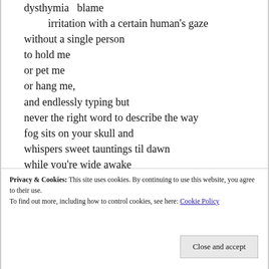dysthymia   blame
    irritation with a certain human's gaze
without a single person
to hold me
or pet me
or hang me,
and endlessly typing but
never the right word to describe the way
fog sits on your skull and
whispers sweet tauntings til dawn
while you're wide awake
and then a second passes and it's a
 stranger on the sidewalk,
Privacy & Cookies: This site uses cookies. By continuing to use this website, you agree to their use.
To find out more, including how to control cookies, see here: Cookie Policy
Close and accept
stepping on your path